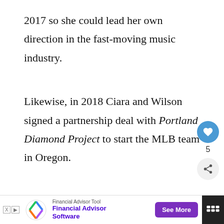2017 so she could lead her own direction in the fast-moving music industry.
Likewise, in 2018 Ciara and Wilson signed a partnership deal with Portland Diamond Project to start the MLB team in Oregon.
Later, in 2019 the couple joined the MLS side Seattle Sounders ownership group. Moreover, Sounders won the league in that season.
In addition, in the same year, the couple announced a joint venture, a production company na...
[Figure (screenshot): Advertisement banner for Financial Advisor Tool / Financial Advisor Software with See More button]